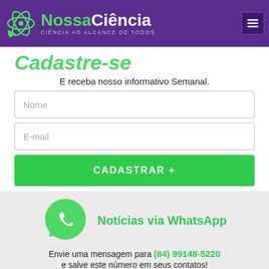[Figure (logo): NossaCiência logo with atom icon and tagline 'CIÊNCIA AO ALCANCE DE TODOS' on purple header background]
Cadastre-se
E receba nosso informativo Semanal.
Nome
E-mail
CADASTRAR +
[Figure (logo): WhatsApp green logo icon]
Notícias via WhatsApp
Envie uma mensagem para (84) 99148-5220 e salve este número em seus contatos!